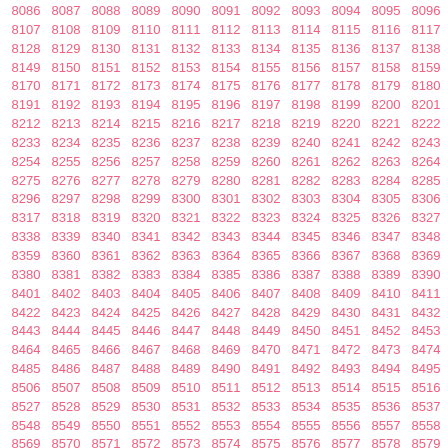Grid of numbers from 8086 to 8599, arranged in rows of approximately 11 columns with pink color